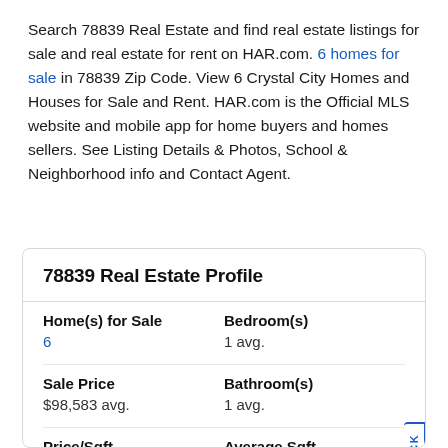Search 78839 Real Estate and find real estate listings for sale and real estate for rent on HAR.com. 6 homes for sale in 78839 Zip Code. View 6 Crystal City Homes and Houses for Sale and Rent. HAR.com is the Official MLS website and mobile app for home buyers and homes sellers. See Listing Details & Photos, School & Neighborhood info and Contact Agent.
78839 Real Estate Profile
|  |  |
| --- | --- |
| Home(s) for Sale
6 | Bedroom(s)
1 avg. |
| Sale Price
$98,583 avg. | Bathroom(s)
1 avg. |
| Price/Sqft | Average Sqft |